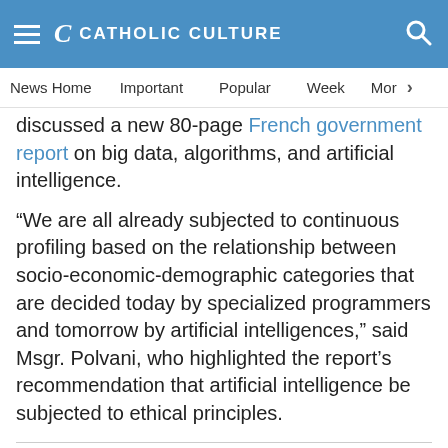CATHOLIC CULTURE
News Home | Important | Popular | Week | More
discussed a new 80-page French government report on big data, algorithms, and artificial intelligence.
“We are all already subjected to continuous profiling based on the relationship between socio-economic-demographic categories that are decided today by specialized programmers and tomorrow by artificial intelligences,” said Msgr. Polvani, who highlighted the report’s recommendation that artificial intelligence be subjected to ethical principles.
For all current news, visit our News home page.
Further information: